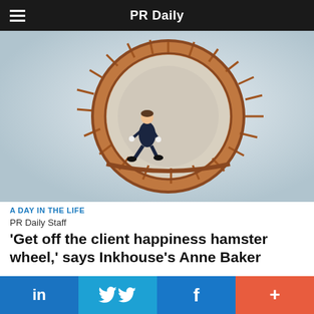PR Daily
[Figure (photo): A man in a business suit running inside a large hamster wheel on a light blue/grey background]
A DAY IN THE LIFE
PR Daily Staff
'Get off the client happiness hamster wheel,' says Inkhouse's Anne Baker
[Figure (photo): Partial view of sticky notes on a wall, one reads RESPONSIVE WEB, another partially reads CREATIVE]
in  (Twitter bird)  f  +